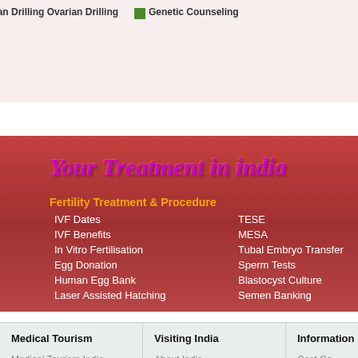[Figure (screenshot): Top pink banner area showing cropped links: Ovarian Drilling and Genetic Counseling with green icons, partially visible]
Your Treatment in india
Fertility Treatment & Procedure
IVF Dates
IVF Benefits
In Vitro Fertilisation
Egg Donation
Human Egg Bank
Laser Assisted Hatching
TESE
MESA
Tubal Embryo Transfer
Sperm Tests
Blastocyst Culture
Semen Banking
Medical Tourism
Medical Tourism India
International Patient Services
Step by Step Processes
International Accreditions
We Care Recommends
Visiting India
About India
Medical Visa
Stay in India
Travel Guide
Tours Of India
Information
Cost Ca...
FAQ
Patient...
India Vi...